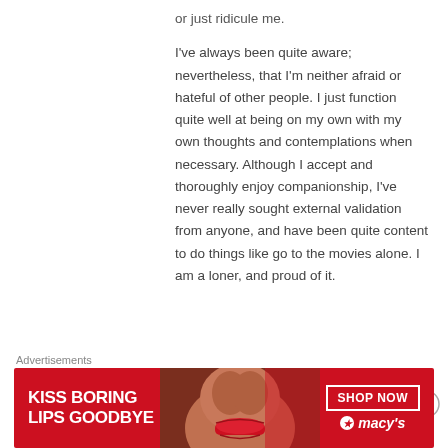or just ridicule me.
I've always been quite aware; nevertheless, that I'm neither afraid or hateful of other people. I just function quite well at being on my own with my own thoughts and contemplations when necessary. Although I accept and thoroughly enjoy companionship, I've never really sought external validation from anyone, and have been quite content to do things like go to the movies alone. I am a loner, and proud of it.
Like
Reply ↓
Advertisements
[Figure (infographic): Advertisement banner for Macy's: red background with woman's face, text 'KISS BORING LIPS GOODBYE', 'SHOP NOW' button, and Macy's logo with star]